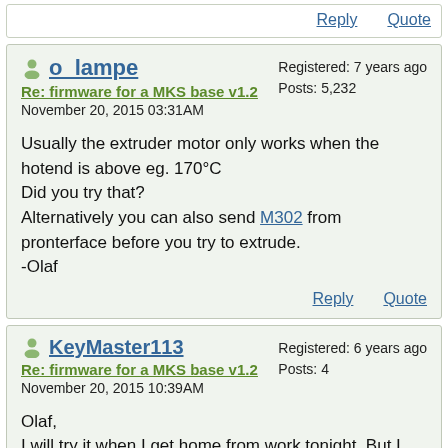Reply   Quote
o_lampe
Re: firmware for a MKS base v1.2
November 20, 2015 03:31AM
Registered: 7 years ago
Posts: 5,232
Usually the extruder motor only works when the hotend is above eg. 170°C
Did you try that?
Alternatively you can also send M302 from pronterface before you try to extrude.
-Olaf
Reply   Quote
KeyMaster113
Re: firmware for a MKS base v1.2
November 20, 2015 10:39AM
Registered: 6 years ago
Posts: 4
Olaf,
I will try it when I get home from work tonight. But I am pretty sure that I ran the extruder at 210°C and it